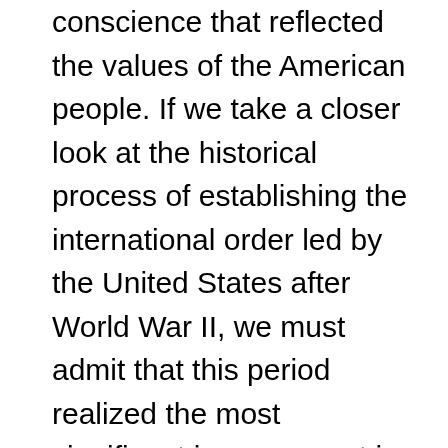conscience that reflected the values of the American people. If we take a closer look at the historical process of establishing the international order led by the United States after World War II, we must admit that this period realized the most significant improvement in the living conditions of humanity. We have to acknowledge that the United States has led the creation of an international order based on rights and responsibilities. And the US has advanced this order to promote peace, security, and opportunity. Yet Trump is ceding America's moral high ground by being soft on authoritarian regimes while exercising unilateral, selfish, and dangerous foreign policies. As a result, the perceptions of America on the world stage are declining.